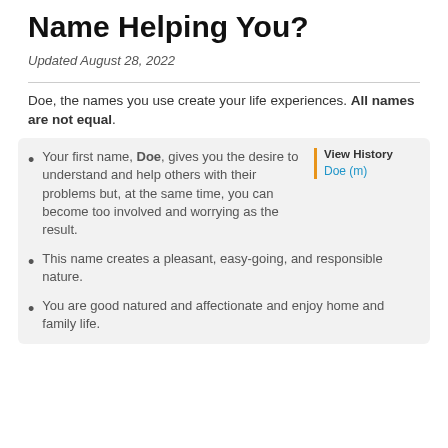Name Helping You?
Updated August 28, 2022
Doe, the names you use create your life experiences. All names are not equal.
Your first name, Doe, gives you the desire to understand and help others with their problems but, at the same time, you can become too involved and worrying as the result.
This name creates a pleasant, easy-going, and responsible nature.
You are good natured and affectionate and enjoy home and family life.